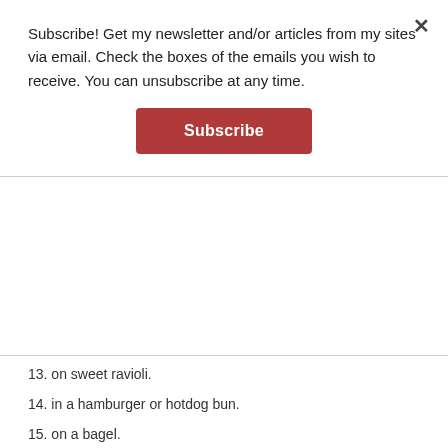Subscribe! Get my newsletter and/or articles from my sites via email. Check the boxes of the emails you wish to receive. You can unsubscribe at any time.
Subscribe
13. on sweet ravioli.
14. in a hamburger or hotdog bun.
15. on a bagel.
16. on a muffin.
17. on top of a waffle.
18. in a pita.
19. on poundcake.
20. twisted in challah.
21. on strawberries.
22. on sliced pear.
23. stuffed in a cored apple.
24. spread on celery sticks.